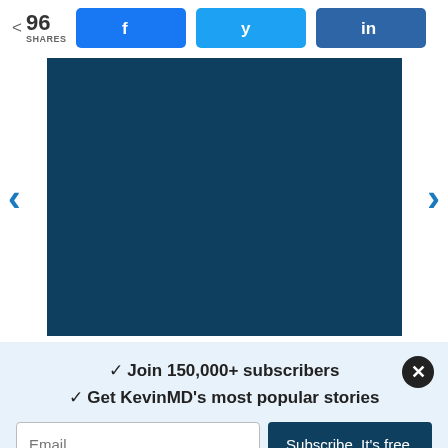96 SHARES
[Figure (screenshot): Social share buttons: Facebook (f), Twitter (bird icon), LinkedIn (in)]
[Figure (photo): Dark navy blue rectangular image placeholder]
Join 150,000+ subscribers
Get KevinMD's most popular stories
Email | Subscribe. It's free.